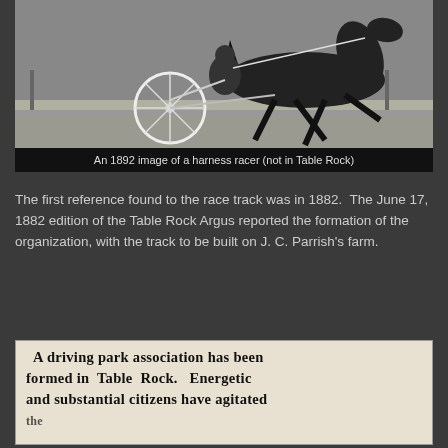[Figure (photo): A black and white 1892 photograph of a harness racer — a person riding a sulky (two-wheeled cart) pulled by a trotting horse at speed on a track.]
An 1892 image of a harness racer (not in Table Rock)
The first reference found to the race track was in 1882.  The June 17, 1882 edition of the Table Rock Argus reported the formation of the organization, with the track to be built on J. C. Parrish's farm.
[Figure (photo): A scanned image of an old newspaper clipping with text: 'A driving park association has been formed in Table Rock. Energetic and substantial citizens have agitated the...']